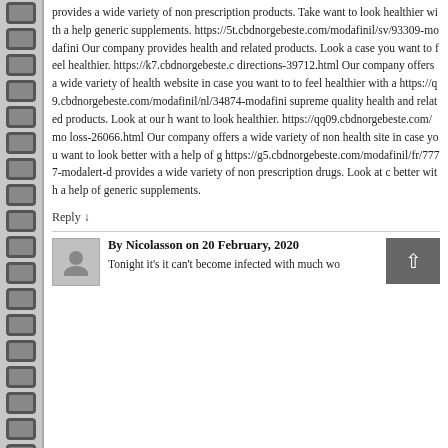provides a wide variety of non prescription products. Take want to look healthier with a help generic supplements. https://5t.cbdnorgebeste.com/modafinil/sv/93309-modafini Our company provides health and related products. Look a case you want to feel healthier. https://k7.cbdnorgebeste.c directions-39712.html Our company offers a wide variety of health website in case you want to to feel healthier with a https://q9.cbdnorgebeste.com/modafinil/nl/34874-modafini supreme quality health and related products. Look at our h want to look healthier. https://qq09.cbdnorgebeste.com/mo loss-26066.html Our company offers a wide variety of non health site in case you want to look better with a help of g https://g5.cbdnorgebeste.com/modafinil/fr/7777-modalert-d provides a wide variety of non prescription drugs. Look at c better with a help of generic supplements.
Reply ↓
By Nicolasson on 20 February, 2020
Tonight it's it can't become infected with much wo